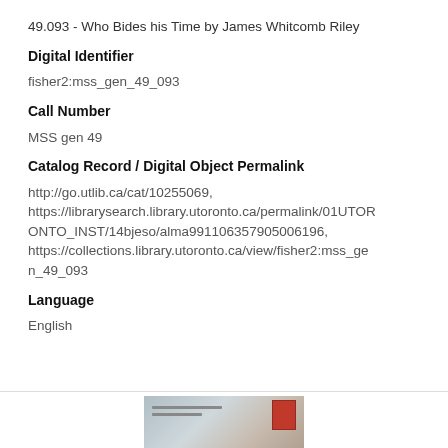49.093 - Who Bides his Time by James Whitcomb Riley
Digital Identifier
fisher2:mss_gen_49_093
Call Number
MSS gen 49
Catalog Record / Digital Object Permalink
http://go.utlib.ca/cat/10255069, https://librarysearch.library.utoronto.ca/permalink/01UTORONTO_INST/14bjeso/alma991106357905006196, https://collections.library.utoronto.ca/view/fisher2:mss_gen_49_093
Language
English
[Figure (photo): Thumbnail image of an envelope or manuscript item with a red stamp in the upper right corner]